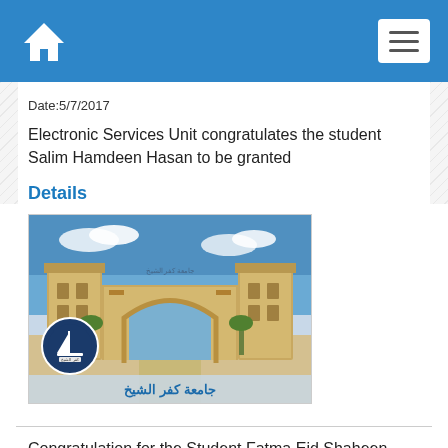Navigation bar with home icon and menu button
Date:5/7/2017
Electronic Services Unit congratulates the student Salim Hamdeen Hasan to be granted
Details
[Figure (photo): University gate building photo with Arabic text caption reading 'جامعة كفر الشيخ' (Kafr El-Sheikh University) and a circular logo with a sailboat]
Congratulation for the Student Fatma Eid Shaheen